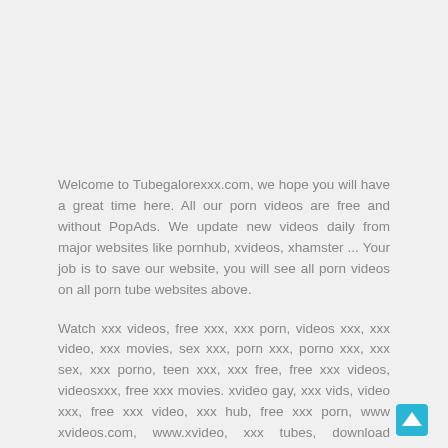Welcome to Tubegalorexxx.com, we hope you will have a great time here. All our porn videos are free and without PopAds. We update new videos daily from major websites like pornhub, xvideos, xhamster ... Your job is to save our website, you will see all porn videos on all porn tube websites above.
Watch xxx videos, free xxx, xxx porn, videos xxx, xxx video, xxx movies, sex xxx, porn xxx, porno xxx, xxx sex, xxx porno, teen xxx, xxx free, free xxx videos, videosxxx, free xxx movies. xvideo gay, xxx vids, video xxx, free xxx video, xxx hub, free xxx porn, www xvideos.com, www.xvideo, xxx tubes, download xvideos, free xxx sex videos, xxx vid, xvideos porn, xxx sex videos, gay xvideo, xxx tube, free xvideos, porn xvideos, free xxx sex, fucked up porn, xvideos download, xvideos.cpm, videos xxx, xxx free porn, xvideos hd, xvideos porno, xvideo downloader, wwwxvideos, free xxx movie, download xvideo, www.xvideos..com, free x videos, xxx sex com, videos porno xxx, tubeglore, Hamster sex tube, tubegalor